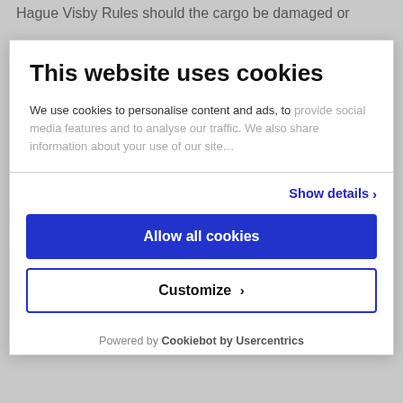Hague Visby Rules should the cargo be damaged or
This website uses cookies
We use cookies to personalise content and ads, to provide social media features and to analyse our traffic. We also share information about your use of our site...
Show details ›
Allow all cookies
Customize ›
Powered by Cookiebot by Usercentrics